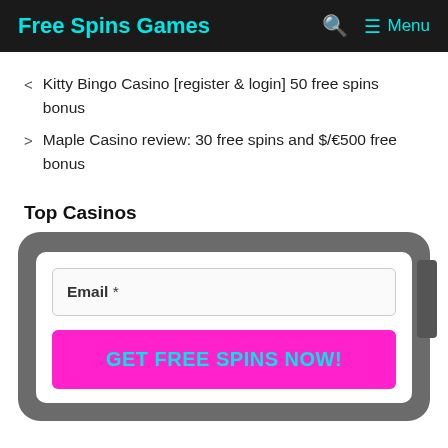Free Spins Games   🔍  ≡ Menu
< Kitty Bingo Casino [register & login] 50 free spins bonus
> Maple Casino review: 30 free spins and $/€500 free bonus
Top Casinos
[Figure (screenshot): A casino signup form card with a dark grey rounded rectangle background containing a white inner card with an Email * text input field and a bright pink 'GET FREE SPINS NOW!' button with cyan text.]